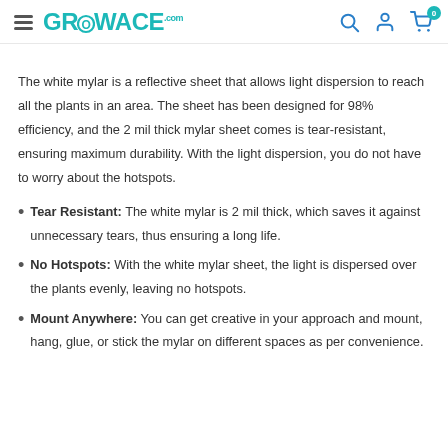GROWACE.com
The white mylar is a reflective sheet that allows light dispersion to reach all the plants in an area. The sheet has been designed for 98% efficiency, and the 2 mil thick mylar sheet comes is tear-resistant, ensuring maximum durability. With the light dispersion, you do not have to worry about the hotspots.
Tear Resistant: The white mylar is 2 mil thick, which saves it against unnecessary tears, thus ensuring a long life.
No Hotspots: With the white mylar sheet, the light is dispersed over the plants evenly, leaving no hotspots.
Mount Anywhere: You can get creative in your approach and mount, hang, glue, or stick the mylar on different spaces as per convenience.